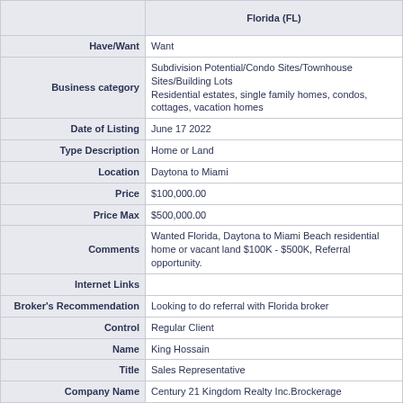| Label | Value |
| --- | --- |
|  | Florida (FL) |
| Have/Want | Want |
| Business category | Subdivision Potential/Condo Sites/Townhouse Sites/Building Lots
Residential estates, single family homes, condos, cottages, vacation homes |
| Date of Listing | June 17 2022 |
| Type Description | Home or Land |
| Location | Daytona to Miami |
| Price | $100,000.00 |
| Price Max | $500,000.00 |
| Comments | Wanted Florida, Daytona to Miami Beach residential home or vacant land $100K - $500K, Referral opportunity. |
| Internet Links |  |
| Broker's Recommendation | Looking to do referral with Florida broker |
| Control | Regular Client |
| Name | King Hossain |
| Title | Sales Representative |
| Company Name | Century 21 Kingdom Realty Inc.Brockerage |
| Address Line One | 1099 Kingstone Road |
| City | Pickering |
| State/Province | Ontario |
| Zip/Postal Code | L1V 1B5 |